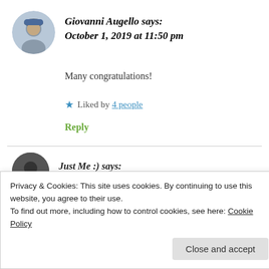[Figure (photo): Circular avatar photo of Giovanni Augello, a man wearing a blue winter hat outdoors.]
Giovanni Augello says:
October 1, 2019 at 11:50 pm
Many congratulations!
★ Liked by 4 people
Reply
[Figure (photo): Circular avatar of Just Me (partially visible, dark background).]
Just Me :) says:
Privacy & Cookies: This site uses cookies. By continuing to use this website, you agree to their use.
To find out more, including how to control cookies, see here: Cookie Policy
Close and accept